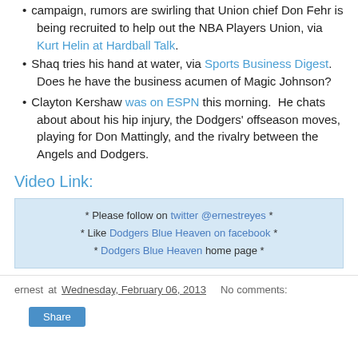campaign, rumors are swirling that Union chief Don Fehr is being recruited to help out the NBA Players Union, via Kurt Helin at Hardball Talk.
Shaq tries his hand at water, via Sports Business Digest.  Does he have the business acumen of Magic Johnson?
Clayton Kershaw was on ESPN this morning.  He chats about about his hip injury, the Dodgers' offseason moves, playing for Don Mattingly, and the rivalry between the Angels and Dodgers.
Video Link:
* Please follow on twitter @ernestreyes *
* Like Dodgers Blue Heaven on facebook *
* Dodgers Blue Heaven home page *
ernest at Wednesday, February 06, 2013  No comments: